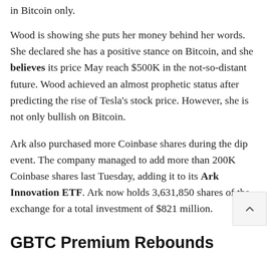in Bitcoin only.
Wood is showing she puts her money behind her words. She declared she has a positive stance on Bitcoin, and she believes its price May reach $500K in the not-so-distant future. Wood achieved an almost prophetic status after predicting the rise of Tesla's stock price. However, she is not only bullish on Bitcoin.
Ark also purchased more Coinbase shares during the dip event. The company managed to add more than 200K Coinbase shares last Tuesday, adding it to its Ark Innovation ETF. Ark now holds 3,631,850 shares of the exchange for a total investment of $821 million.
GBTC Premium Rebounds